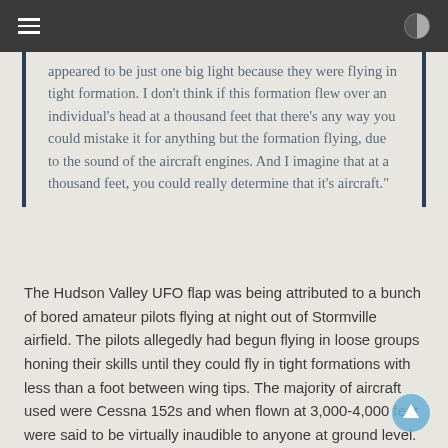[navigation header]
appeared to be just one big light because they were flying in tight formation. I don’t think if this formation flew over an individual’s head at a thousand feet that there’s any way you could mistake it for anything but the formation flying, due to the sound of the aircraft engines. And I imagine that at a thousand feet, you could really determine that it’s aircraft.”
The Hudson Valley UFO flap was being attributed to a bunch of bored amateur pilots flying at night out of Stormville airfield. The pilots allegedly had begun flying in loose groups honing their skills until they could fly in tight formations with less than a foot between wing tips. The majority of aircraft used were Cessna 152s and when flown at 3,000-4,000 feet were said to be virtually inaudible to anyone at ground level.
Once stories of UFOs began to circulate in the local media